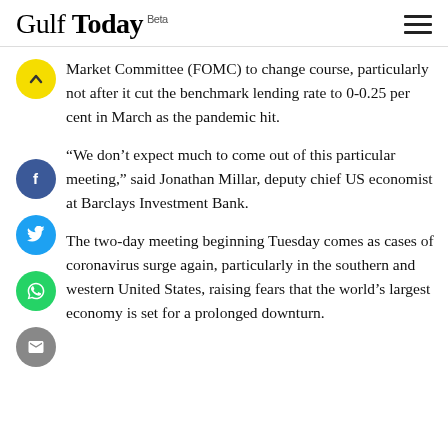Gulf Today Beta
Market Committee (FOMC) to change course, particularly not after it cut the benchmark lending rate to 0-0.25 per cent in March as the pandemic hit.
“We don’t expect much to come out of this particular meeting,” said Jonathan Millar, deputy chief US economist at Barclays Investment Bank.
The two-day meeting beginning Tuesday comes as cases of coronavirus surge again, particularly in the southern and western United States, raising fears that the world’s largest economy is set for a prolonged downturn.